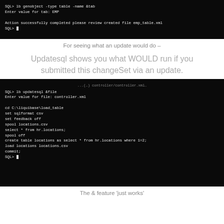[Figure (screenshot): Terminal window showing SQL> lb genobject -type table -name &tab, Enter value for tab: EMP, Action successfully completed please review created file emp_table.xml, SQL> prompt]
For seeing what an update would do –
Updatesql shows you what WOULD run if you submitted this changeSet via an update.
[Figure (screenshot): Terminal window showing SQL> lb updatesql &file, Enter value for file: controller.xml, cd C:\liquibase\load_table, set sqlformat csv, set feedback off, spool locations.csv, select * from hr.locations;, spool off, create table locations as select * from hr.locations where 1=2;, load locations locations.csv, commit;, SQL> prompt]
The & feature 'just works'